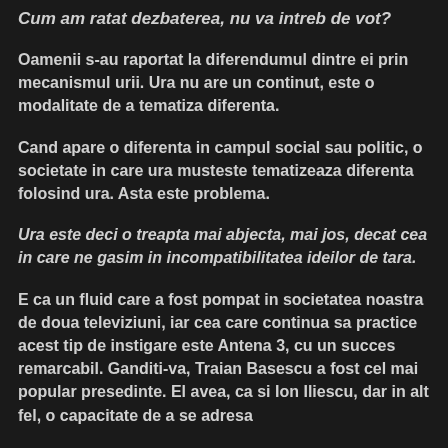Cum am ratat dezbaterea, nu va intreb de vot?
Oamenii s-au raportat la diferendumul dintre ei prin mecanismul urii. Ura nu are un continut, este o modalitate de a tematiza diferenta.
Cand apare o diferenta in campul social sau politic, o societate in care ura musteste tematizeaza diferenta folosind ura. Asta este problema.
Ura este deci o treapta mai abjecta, mai jos, decat cea in care ne gasim in incompatibilitatea ideilor de tara.
E ca un fluid care a fost pompat in societatea noastra de doua televiziuni, iar cea care continua sa practice acest tip de instigare este Antena 3, cu un succes remarcabil. Ganditi-va, Traian Basescu a fost cel mai popular presedinte. El avea, ca si Ion Iliescu, dar in alt fel, o capacitate de a se adresa